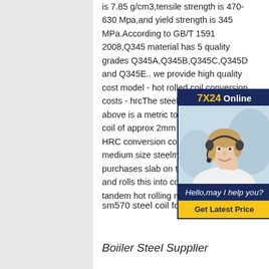is 7.85 g/cm3,tensile strength is 470-630 Mpa,and yield strength is 345 MPa.According to GB/T 1591 2008,Q345 material has 5 quality grades Q345A,Q345B,Q345C,Q345D and Q345E.. we provide high quality cost model - hot rolled coil conversion costs - hrcThe steel product that is above is a metric tonne of hot rolled coil of approx 2mm or 3mm gauge. HRC conversion cost is for a notional medium size steelmaker who purchases slab on the open market and rolls this into coil on a traditional tandem hot rolling mill of
[Figure (photo): Customer service representative wearing headset, with '7X24 Online' header banner, 'Hello, may I help you?' message, and 'Get Latest Price' button in a dark blue ad widget]
sm570 steel coil for bridge grade -
Boiiler Steel Supplier